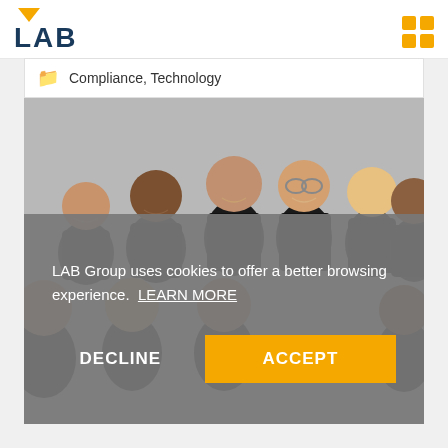[Figure (logo): LAB Group logo with yellow downward triangle above bold dark blue text 'LAB']
[Figure (illustration): Yellow grid/menu icon in top right corner]
Compliance, Technology
[Figure (photo): Group photo of approximately 10 people in black polo shirts against a light grey background]
LAB Group uses cookies to offer a better browsing experience. LEARN MORE
DECLINE
ACCEPT